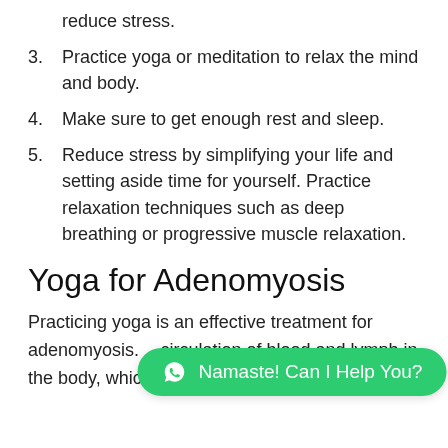reduce stress.
3. Practice yoga or meditation to relax the mind and body.
4. Make sure to get enough rest and sleep.
5. Reduce stress by simplifying your life and setting aside time for yourself. Practice relaxation techniques such as deep breathing or progressive muscle relaxation.
Yoga for Adenomyosis
Practicing yoga is an effective treatment for adenomyosis. [partially obscured] circulation of blood and lymph in the body, which